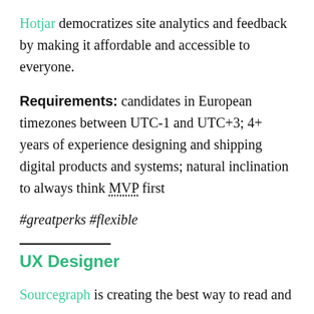Hotjar democratizes site analytics and feedback by making it affordable and accessible to everyone.
Requirements: candidates in European timezones between UTC-1 and UTC+3; 4+ years of experience designing and shipping digital products and systems; natural inclination to always think MVP first
#greatperks #flexible
UX Designer
Sourcegraph is creating the best way to read and